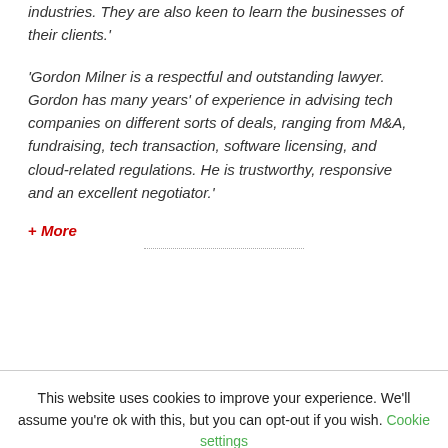industries. They are also keen to learn the businesses of their clients.'
'Gordon Milner is a respectful and outstanding lawyer. Gordon has many years' of experience in advising tech companies on different sorts of deals, ranging from M&A, fundraising, tech transaction, software licensing, and cloud-related regulations. He is trustworthy, responsive and an excellent negotiator.'
+ More
This website uses cookies to improve your experience. We'll assume you're ok with this, but you can opt-out if you wish. Cookie settings
ACCEPT